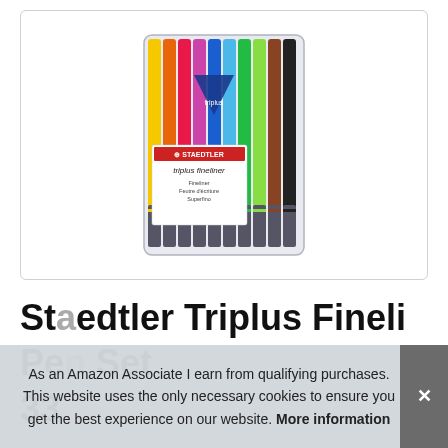[Figure (photo): Staedtler Triplus Fineliner pen set in a clear plastic case with 10 pens of assorted colors (yellow, orange, red/pink, magenta, blue, light blue, green, light green, brown, black) with label showing 'STAEDTLER triplus fineliner Fineliner Feutre d'écriture Superfino']
Sta... Staedtler Triplus Fineli...
Pe...
33
As an Amazon Associate I earn from qualifying purchases. This website uses the only necessary cookies to ensure you get the best experience on our website. More information